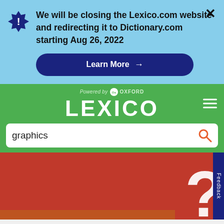We will be closing the Lexico.com website and redirecting it to Dictionary.com starting Aug 26, 2022
[Figure (screenshot): Learn More button with arrow on dark navy blue rounded rectangle background]
[Figure (logo): Lexico logo - Powered by Oxford, white LEXICO text on green background with hamburger menu]
[Figure (screenshot): Search bar with 'graphics' text and orange search icon on white background]
[Figure (photo): Orange/red wall with large white 3D question mark, hero image for dictionary page]